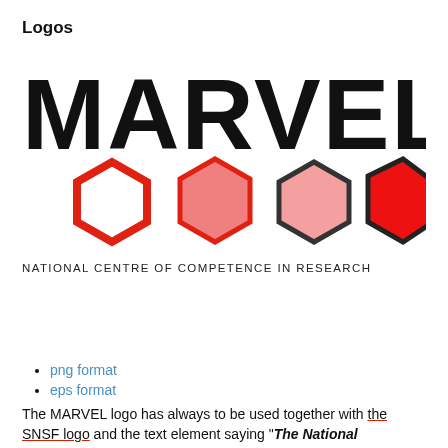Logos
[Figure (logo): MARVEL logo with large bold text and four hexagon shapes in different styles (red outline/white fill, red outline/light red fill, dark outline/light pink fill, dark outline/red fill), with subtitle 'NATIONAL CENTRE OF COMPETENCE IN RESEARCH']
png format
eps format
The MARVEL logo has always to be used together with the SNSF logo and the text element saying "The National